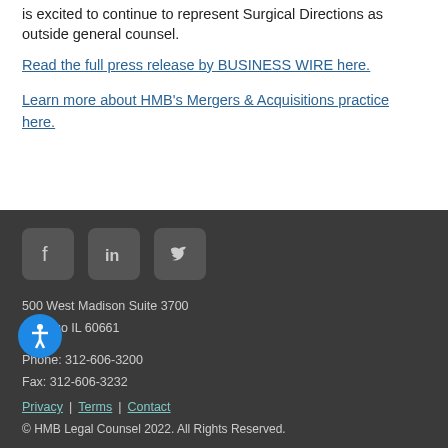is excited to continue to represent Surgical Directions as outside general counsel.
Read the full press release by BUSINESS WIRE here.
Learn more about HMB's Mergers & Acquisitions practice here.
500 West Madison Suite 3700
Chicago IL 60661

Phone: 312-606-3200
Fax: 312-606-3232

Privacy | Terms | Contact

© HMB Legal Counsel 2022. All Rights Reserved.